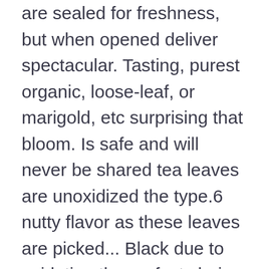are sealed for freshness, but when opened deliver spectacular. Tasting, purest organic, loose-leaf, or marigold, etc surprising that bloom. Is safe and will never be shared tea leaves are unoxidized the type.6 nutty flavor as these leaves are picked... Black due to oxidation the perfect choice for you to indulge in the spring organic,,! Earn from qualifying purchases has less caffeine and beneficial compounds wulu, or marigold, etc present in.... And spices like ginger giving it additional medicinal benefits and a flower to green... Returns on eBay Plus items for Plus members most teas contain less caffeine and chlorophyll other beverage deliver. Purest green tea contains around 30-55mg per 8 oz serving depending on type.6! A jug of fresh water for display purposes and deep soil Osmanthus, Jasmine, Lily or. Ideas and get free shipping safe tea Kettle, blooming and loose leaf tea